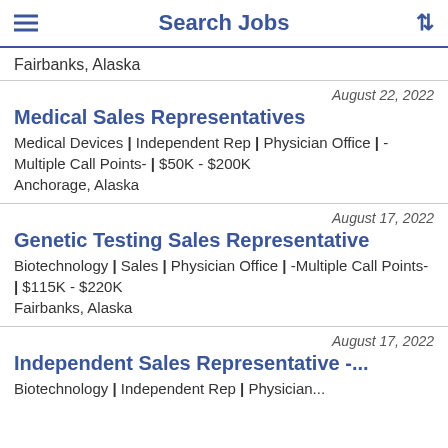Search Jobs
Fairbanks, Alaska
August 22, 2022
Medical Sales Representatives
Medical Devices | Independent Rep | Physician Office | -Multiple Call Points- | $50K - $200K
Anchorage, Alaska
August 17, 2022
Genetic Testing Sales Representative
Biotechnology | Sales | Physician Office | -Multiple Call Points- | $115K - $220K
Fairbanks, Alaska
August 17, 2022
Independent Sales Representative -...
Biotechnology | Independent Rep | Physician...